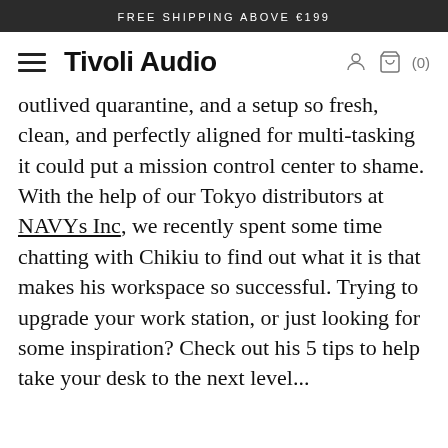FREE SHIPPING ABOVE €199
Tivoli Audio
outlived quarantine, and a setup so fresh, clean, and perfectly aligned for multi-tasking it could put a mission control center to shame. With the help of our Tokyo distributors at NAVYs Inc, we recently spent some time chatting with Chikiu to find out what it is that makes his workspace so successful. Trying to upgrade your work station, or just looking for some inspiration? Check out his 5 tips to help take your desk to the next level...